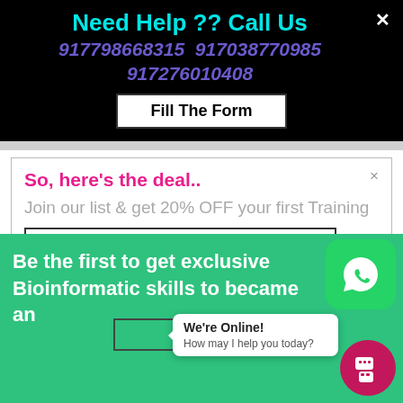Need Help ?? Call Us
917798668315  917038770985  917276010408
Fill The Form
So, here's the deal..
Join our list & get 20% OFF your first Training
Phone *
Be the first to get exclusive Bioinformatic skills to became an
We're Online!
How may I help you today?